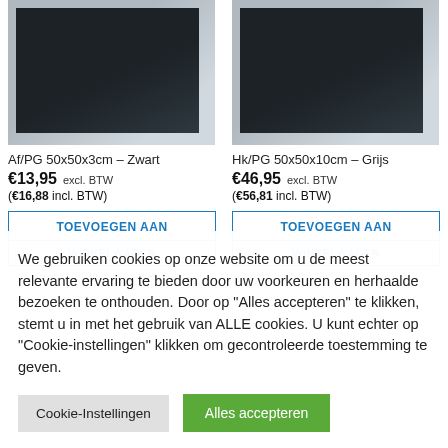[Figure (photo): Dark rubber mat product photo on light stone floor background, left product]
[Figure (photo): Dark rubber mat product photo on light stone floor background, right product]
Af/PG 50x50x3cm – Zwart €13,95 excl. BTW (€16,88 incl. BTW)
Hk/PG 50x50x10cm – Grijs €46,95 excl. BTW (€56,81 incl. BTW)
TOEVOEGEN AAN WINKELWAGEN (left)
TOEVOEGEN AAN WINKELWAGEN (right)
We gebruiken cookies op onze website om u de meest relevante ervaring te bieden door uw voorkeuren en herhaalde bezoeken te onthouden. Door op "Alles accepteren" te klikken, stemt u in met het gebruik van ALLE cookies. U kunt echter op "Cookie-instellingen" klikken om gecontroleerde toestemming te geven.
Cookie-Instellingen
Alles accepteren